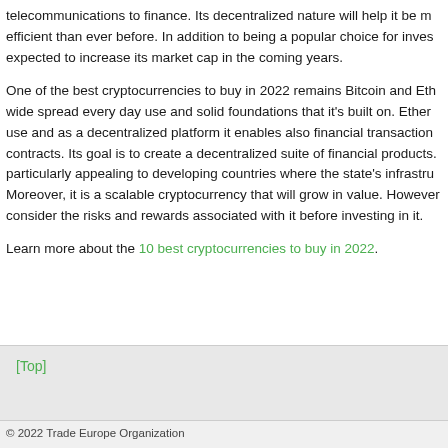telecommunications to finance. Its decentralized nature will help it be more efficient than ever before. In addition to being a popular choice for investors, expected to increase its market cap in the coming years.
One of the best cryptocurrencies to buy in 2022 remains Bitcoin and Eth... wide spread every day use and solid foundations that it's built on. Ether... use and as a decentralized platform it enables also financial transaction... contracts. Its goal is to create a decentralized suite of financial products... particularly appealing to developing countries where the state's infrastr... Moreover, it is a scalable cryptocurrency that will grow in value. However... consider the risks and rewards associated with it before investing in it.
Learn more about the 10 best cryptocurrencies to buy in 2022.
[Top]
© 2022 Trade Europe Organization